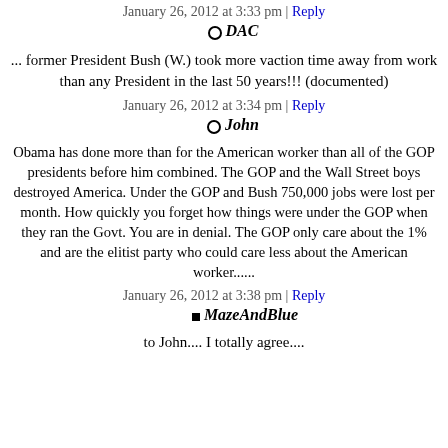January 26, 2012 at 3:33 pm | Reply
DAC
... former President Bush (W.) took more vaction time away from work than any President in the last 50 years!!! (documented)
January 26, 2012 at 3:34 pm | Reply
John
Obama has done more than for the American worker than all of the GOP presidents before him combined. The GOP and the Wall Street boys destroyed America. Under the GOP and Bush 750,000 jobs were lost per month. How quickly you forget how things were under the GOP when they ran the Govt. You are in denial. The GOP only care about the 1% and are the elitist party who could care less about the American worker......
January 26, 2012 at 3:38 pm | Reply
MazeAndBlue
to John.... I totally agree....